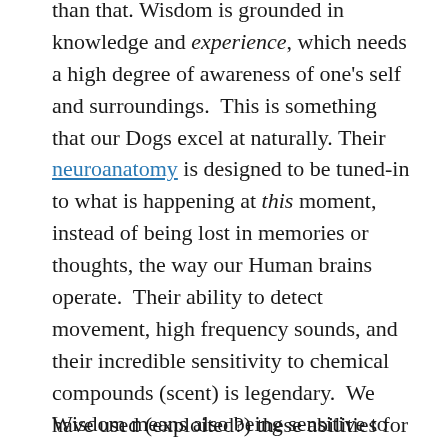than that. Wisdom is grounded in knowledge and experience, which needs a high degree of awareness of one's self and surroundings. This is something that our Dogs excel at naturally. Their neuroanatomy is designed to be tuned-in to what is happening at this moment, instead of being lost in memories or thoughts, the way our Human brains operate. Their ability to detect movement, high frequency sounds, and their incredible sensitivity to chemical compounds (scent) is legendary. We have used (exploited?) these abilities for centuries for our own benefit, but we can help our Dogs use their natural talents to make wise judgements and choices, too.
Wisdom means also being sensitive to the